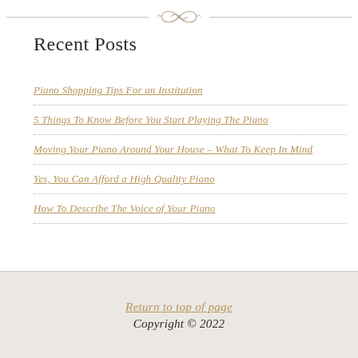[Figure (illustration): Decorative ornamental divider with scrollwork design centered at the top of the page, flanked by horizontal lines]
Recent Posts
Piano Shopping Tips For an Institution
5 Things To Know Before You Start Playing The Piano
Moving Your Piano Around Your House – What To Keep In Mind
Yes, You Can Afford a High Quality Piano
How To Describe The Voice of Your Piano
Return to top of page
Copyright © 2022